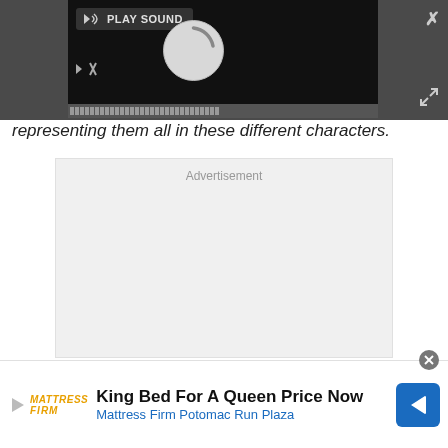[Figure (screenshot): Video player overlay on dark gray background with PLAY SOUND button, loading spinner, mute button, and progress bar. Close (X) button and expand arrows in corners.]
representing them all in these different characters.
[Figure (screenshot): Advertisement placeholder box with light gray background and 'Advertisement' label at top center.]
[Figure (screenshot): Bottom banner advertisement for Mattress Firm: 'King Bed For A Queen Price Now' with 'Mattress Firm Potomac Run Plaza' subtext, Mattress Firm logo on left, navigation icon on right, and close circle button.]